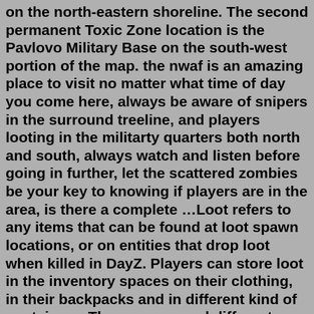on the north-eastern shoreline. The second permanent Toxic Zone location is the Pavlovo Military Base on the south-west portion of the map. the nwaf is an amazing place to visit no matter what time of day you come here, always be aware of snipers in the surround treeline, and players looting in the militarty quarters both north and south, always watch and listen before going in further, let the scattered zombies be your key to knowing if players are in the area, is there a complete …Loot refers to any items that can be found at loot spawn locations, or on entities that drop loot when killed in DayZ. Players can store loot in the inventory spaces on their clothing, in their backpacks and in different kind of containers. There are several different types of loot based on where they can be found and what can be found. Residential, or civilian, loot is the most abundant loot ... Loot refers to any item that can be found, crafted or harvested and used by a survivor. Loot can be found in almost all enterable buildings